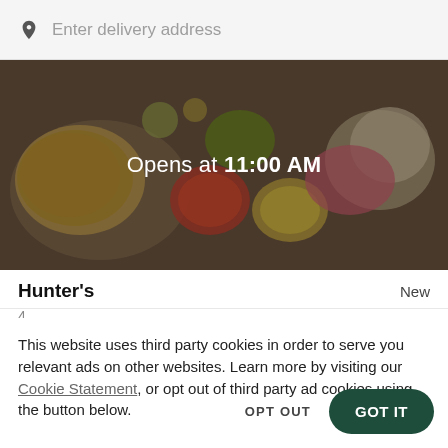Enter delivery address
[Figure (photo): Overhead photo of food dishes on a table, darkened with overlay, showing the text 'Opens at 11:00 AM' centered]
Hunter's
New
This website uses third party cookies in order to serve you relevant ads on other websites. Learn more by visiting our Cookie Statement, or opt out of third party ad cookies using the button below.
OPT OUT
GOT IT